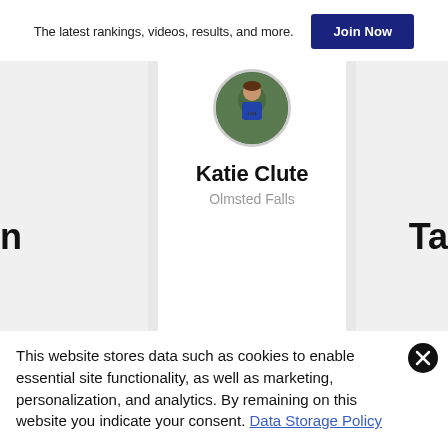The latest rankings, videos, results, and more.
Join Now
[Figure (photo): Circular profile photo of a runner athlete wearing a race bib, in blue/green jersey]
Katie Clute
Olmsted Falls
n
Ta
This website stores data such as cookies to enable essential site functionality, as well as marketing, personalization, and analytics. By remaining on this website you indicate your consent. Data Storage Policy